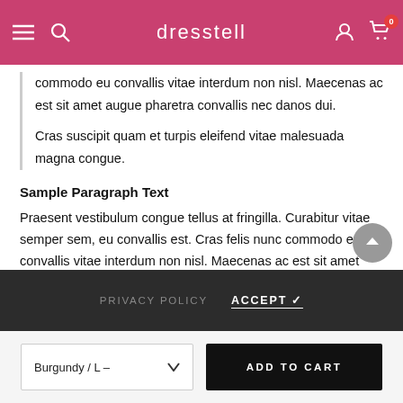dresstell
commodo eu convallis vitae interdum non nisl. Maecenas ac est sit amet augue pharetra convallis nec danos dui. Cras suscipit quam et turpis eleifend vitae malesuada magna congue.
Sample Paragraph Text
Praesent vestibulum congue tellus at fringilla. Curabitur vitae semper sem, eu convallis est. Cras felis nunc commodo eu convallis vitae interdum non nisl. Maecenas ac est sit amet augue pharetra convallis nec danos dui. Cras suscipit quam et turpis eleifend vitae malesuada magna congue. Damus id ullamcorper neque. Sed e mi a mi pretium aliquet ac sed elit. Pellentesque nulla eros accumsan quis justo at tincidunt lobortis denimes loremous.
PRIVACY POLICY   ACCEPT ✓
Burgundy / L –   ADD TO CART